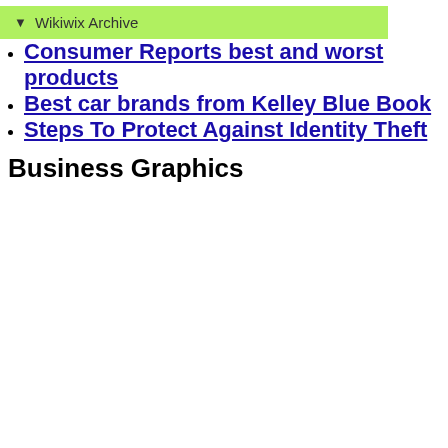▼ Wikiwix Archive
Consumer Reports best and worst products
Best car brands from Kelley Blue Book
Steps To Protect Against Identity Theft
Business Graphics